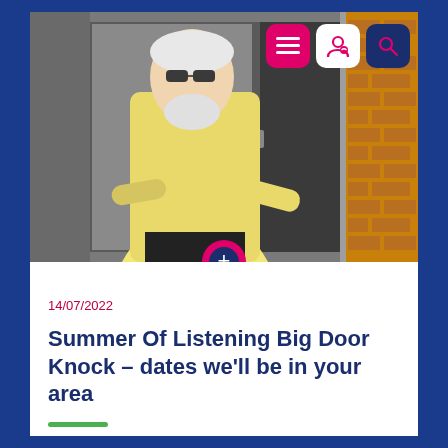[Figure (photo): Screenshot of a website/app page showing an elderly man in a yellow shirt opening a front door, with navigation icons (hamburger menu, user, search) in the top right corner, a pink plus button overlapping the image bottom, a date '14/07/2022', article title 'Summer Of Listening Big Door Knock – dates we'll be in your area', and a green underline bar.]
14/07/2022
Summer Of Listening Big Door Knock – dates we'll be in your area